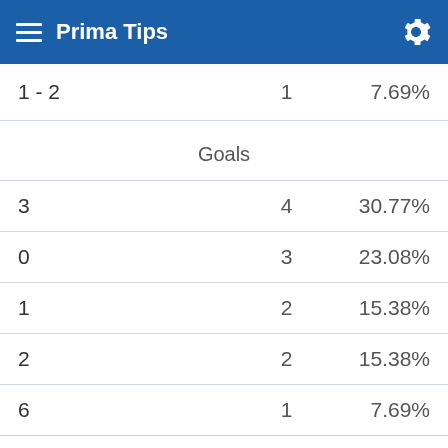Prima Tips
| Score | Count | Percentage |
| --- | --- | --- |
| 1 - 2 | 1 | 7.69% |
| Goals |  |  |
| 3 | 4 | 30.77% |
| 0 | 3 | 23.08% |
| 1 | 2 | 15.38% |
| 2 | 2 | 15.38% |
| 6 | 1 | 7.69% |
| 8 | 1 | 7.69% |
Goals Difference